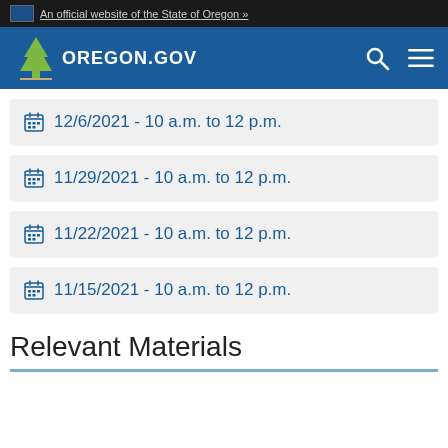An official website of the State of Oregon »
[Figure (logo): Oregon.gov logo with tree and navigation bar including search and menu icons]
12/6/2021 - 10 a.m. to 12 p.m.
11/29/2021 - 10 a.m. to 12 p.m.
11/22/2021 - 10 a.m. to 12 p.m.
11/15/2021 - 10 a.m. to 12 p.m.
Relevant Materials